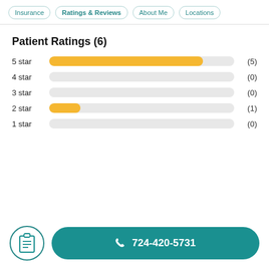Insurance | Ratings & Reviews | About Me | Locations
Patient Ratings (6)
[Figure (bar-chart): Patient Ratings]
724-420-5731